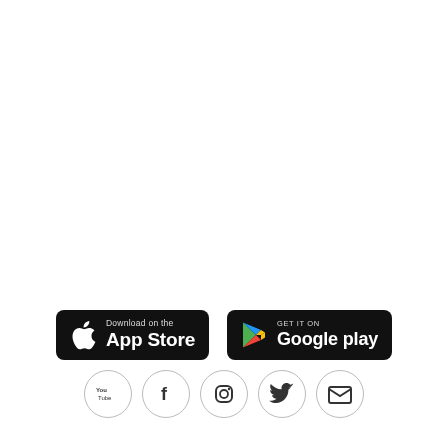[Figure (logo): App Store download badge (black rounded rectangle with Apple logo and text 'Download on the App Store')]
[Figure (logo): Google Play badge (black rounded rectangle with Google Play triangle logo and text 'GET IT ON Google play')]
[Figure (logo): Social media icons in circles: YouTube, Facebook, Instagram, Twitter, Email]